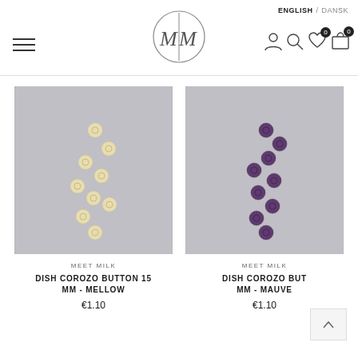ENGLISH / DANSK — MM logo — hamburger menu — nav icons
[Figure (photo): Product photo of cream/ivory colored dish corozo buttons arranged diagonally on a grey background]
MEET MILK
DISH COROZO BUTTON 15 MM - MELLOW
€1.10
[Figure (photo): Product photo of purple/mauve colored dish corozo buttons arranged diagonally on a grey background]
MEET MILK
DISH COROZO BUTTON 15 MM - MAUVE
€1.10